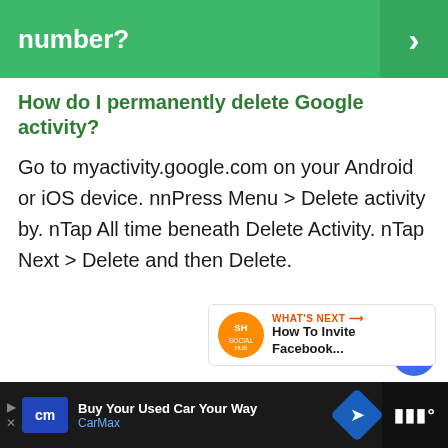number?
How do I permanently delete Google activity?
Go to myactivity.google.com on your Android or iOS device. nnPress Menu > Delete activity by. nTap All time beneath Delete Activity. nTap Next > Delete and then Delete.
[Figure (screenshot): Like button (heart icon in blue circle), count of 1, and share button]
[Figure (screenshot): What's Next promo block with SH Social logo, label 'WHAT'S NEXT', and text 'How To Invite Facebook...']
[Figure (screenshot): Advertisement bar at bottom: CarMax 'Buy Your Used Car Your Way' ad with cm logo, navigation arrow, and right panel with bar icon]